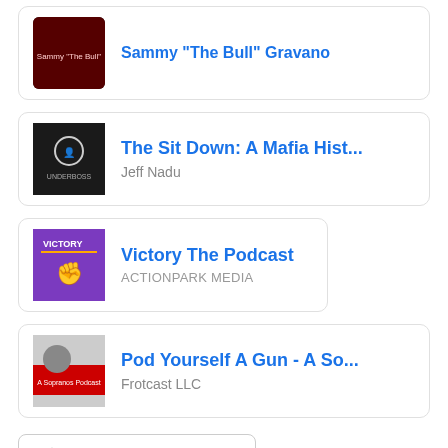Sammy 'The Bull' Gravano
The Sit Down: A Mafia Hist... — Jeff Nadu
Victory The Podcast — ACTIONPARK MEDIA
Pod Yourself A Gun - A So... — Frotcast LLC
More Similar Podcasts
Chart Positions
#46  United States / TV & Film